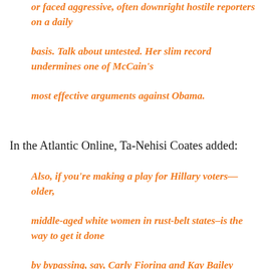or faced aggressive, often downright hostile reporters on a daily basis. Talk about untested. Her slim record undermines one of McCain's most effective arguments against Obama.
In the Atlantic Online, Ta-Nehisi Coates added:
Also, if you're making a play for Hillary voters—older, middle-aged white women in rust-belt states–is the way to get it done by bypassing, say, Carly Fiorina and Kay Bailey Hutchison, to pick a former Ms. Alaska who's only been governor for two